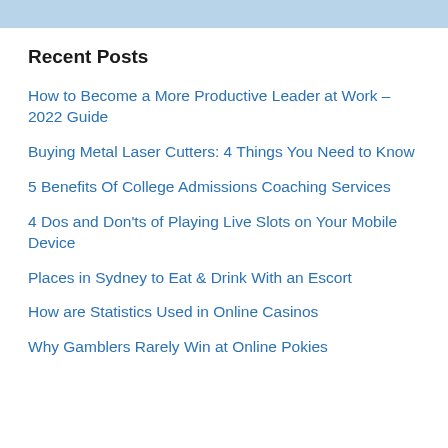Recent Posts
How to Become a More Productive Leader at Work – 2022 Guide
Buying Metal Laser Cutters: 4 Things You Need to Know
5 Benefits Of College Admissions Coaching Services
4 Dos and Don'ts of Playing Live Slots on Your Mobile Device
Places in Sydney to Eat & Drink With an Escort
How are Statistics Used in Online Casinos
Why Gamblers Rarely Win at Online Pokies